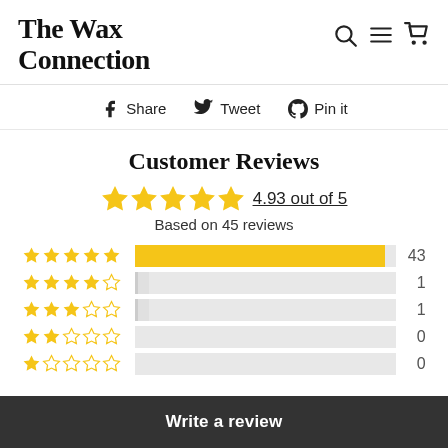The Wax Connection
Share   Tweet   Pin it
Customer Reviews
4.93 out of 5
Based on 45 reviews
[Figure (bar-chart): Rating distribution]
Write a review